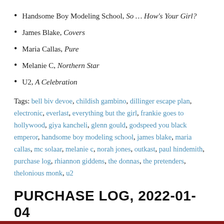Handsome Boy Modeling School, So … How's Your Girl?
James Blake, Covers
Maria Callas, Pure
Melanie C, Northern Star
U2, A Celebration
Tags: bell biv devoe, childish gambino, dillinger escape plan, electronic, everlast, everything but the girl, frankie goes to hollywood, giya kancheli, glenn gould, godspeed you black emperor, handsome boy modeling school, james blake, maria callas, mc solaar, melanie c, norah jones, outkast, paul hindemith, purchase log, rhiannon giddens, the donnas, the pretenders, thelonious monk, u2
PURCHASE LOG, 2022-01-04
January 4, 2022   Greg Bueno